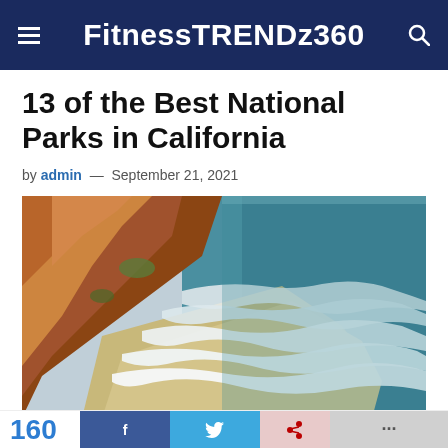FitnessTRENDz360
13 of the Best National Parks in California
by admin — September 21, 2021
[Figure (photo): Aerial view of a California coastal beach scene with orange/rust-colored rocky cliffs on the left and teal ocean waves washing onto sandy shore on the right]
160